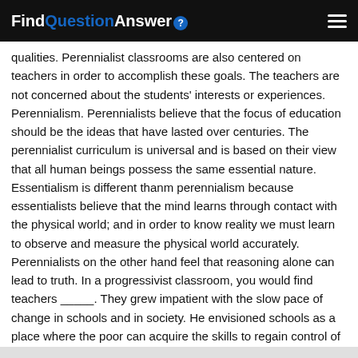FindQuestionAnswer
qualities. Perennialist classrooms are also centered on teachers in order to accomplish these goals. The teachers are not concerned about the students' interests or experiences. Perennialism. Perennialists believe that the focus of education should be the ideas that have lasted over centuries. The perennialist curriculum is universal and is based on their view that all human beings possess the same essential nature. Essentialism is different thanm perennialism because essentialists believe that the mind learns through contact with the physical world; and in order to know reality we must learn to observe and measure the physical world accurately. Perennialists on the other hand feel that reasoning alone can lead to truth. In a progressivist classroom, you would find teachers _____. They grew impatient with the slow pace of change in schools and in society. He envisioned schools as a place where the poor can acquire the skills to regain control of their lives.
TAGS: following similarity between perennialism essentialism